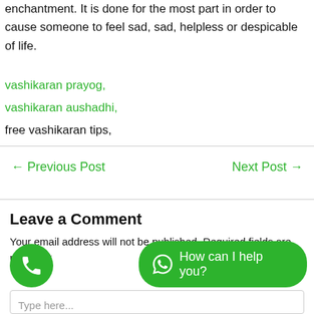enchantment. It is done for the most part in order to cause someone to feel sad, sad, helpless or despicable of life.
vashikaran prayog,
vashikaran aushadhi,
free vashikaran tips,
← Previous Post    Next Post →
Leave a Comment
Your email address will not be published. Required fields are marked *